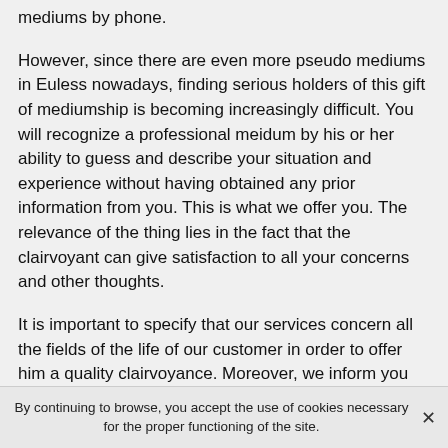mediums by phone.
However, since there are even more pseudo mediums in Euless nowadays, finding serious holders of this gift of mediumship is becoming increasingly difficult. You will recognize a professional meidum by his or her ability to guess and describe your situation and experience without having obtained any prior information from you. This is what we offer you. The relevance of the thing lies in the fact that the clairvoyant can give satisfaction to all your concerns and other thoughts.
It is important to specify that our services concern all the fields of the life of our customer in order to offer him a quality clairvoyance. Moreover, we inform you that there are several variants of clairvoyance. Thus, you can have to do with the horoscope, numerology, astrology, cartomancy,
By continuing to browse, you accept the use of cookies necessary for the proper functioning of the site.